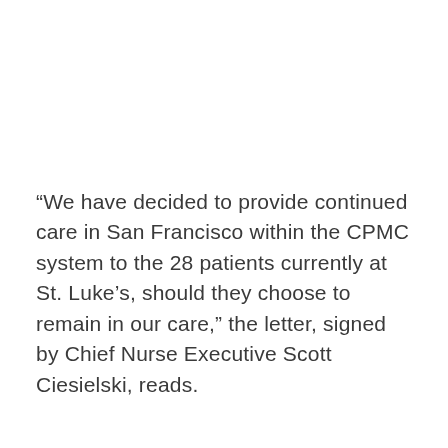“We have decided to provide continued care in San Francisco within the CPMC system to the 28 patients currently at St. Luke’s, should they choose to remain in our care,” the letter, signed by Chief Nurse Executive Scott Ciesielski, reads.